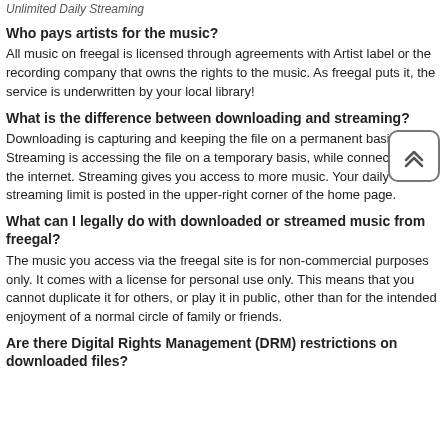Unlimited Daily Streaming
Who pays artists for the music?
All music on freegal is licensed through agreements with Artist label or the recording company that owns the rights to the music. As freegal puts it, the service is underwritten by your local library!
What is the difference between downloading and streaming?
Downloading is capturing and keeping the file on a permanent basis. Streaming is accessing the file on a temporary basis, while connected to the internet. Streaming gives you access to more music. Your daily streaming limit is posted in the upper-right corner of the home page.
What can I legally do with downloaded or streamed music from freegal?
The music you access via the freegal site is for non-commercial purposes only. It comes with a license for personal use only. This means that you cannot duplicate it for others, or play it in public, other than for the intended enjoyment of a normal circle of family or friends.
Are there Digital Rights Management (DRM) restrictions on downloaded files?